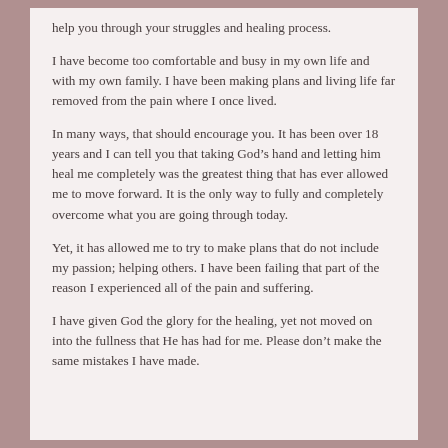help you through your struggles and healing process.
I have become too comfortable and busy in my own life and with my own family. I have been making plans and living life far removed from the pain where I once lived.
In many ways, that should encourage you. It has been over 18 years and I can tell you that taking God’s hand and letting him heal me completely was the greatest thing that has ever allowed me to move forward. It is the only way to fully and completely overcome what you are going through today.
Yet, it has allowed me to try to make plans that do not include my passion; helping others. I have been failing that part of the reason I experienced all of the pain and suffering.
I have given God the glory for the healing, yet not moved on into the fullness that He has had for me. Please don’t make the same mistakes I have made.